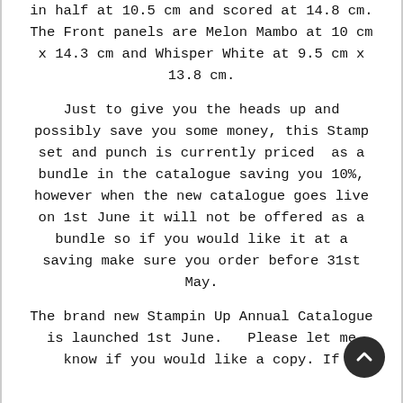in half at 10.5 cm and scored at 14.8 cm. The Front panels are Melon Mambo at 10 cm x 14.3 cm and Whisper White at 9.5 cm x 13.8 cm.

Just to give you the heads up and possibly save you some money, this Stamp set and punch is currently priced  as a bundle in the catalogue saving you 10%, however when the new catalogue goes live on 1st June it will not be offered as a bundle so if you would like it at a saving make sure you order before 31st May.

The brand new Stampin Up Annual Catalogue is launched 1st June.   Please let me know if you would like a copy. If